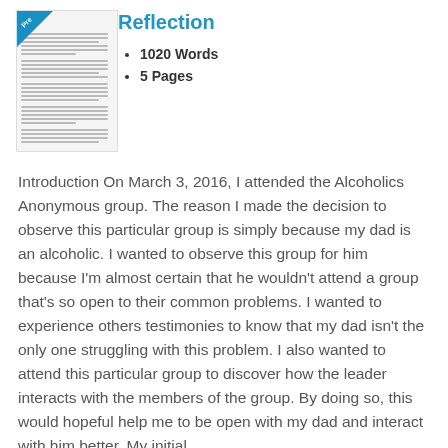[Figure (screenshot): Thumbnail preview of a document page with a blue 'Preview' badge in the top-left corner and lines of text simulating a written essay.]
Reflection
1020 Words
5 Pages
Introduction On March 3, 2016, I attended the Alcoholics Anonymous group. The reason I made the decision to observe this particular group is simply because my dad is an alcoholic. I wanted to observe this group for him because I'm almost certain that he wouldn't attend a group that's so open to their common problems. I wanted to experience others testimonies to know that my dad isn't the only one struggling with this problem. I also wanted to attend this particular group to discover how the leader interacts with the members of the group. By doing so, this would hopeful help me to be open with my dad and interact with him better. My initial